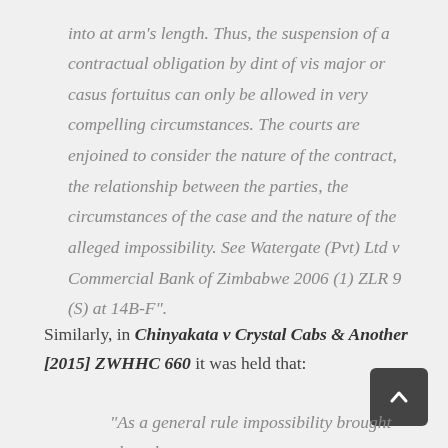into at arm's length. Thus, the suspension of a contractual obligation by dint of vis major or casus fortuitus can only be allowed in very compelling circumstances. The courts are enjoined to consider the nature of the contract, the relationship between the parties, the circumstances of the case and the nature of the alleged impossibility. See Watergate (Pvt) Ltd v Commercial Bank of Zimbabwe 2006 (1) ZLR 9 (S) at 14B-F".
Similarly, in Chinyakata v Crystal Cabs & Another [2015] ZWHHC 660 it was held that:
"As a general rule impossibility brought about by